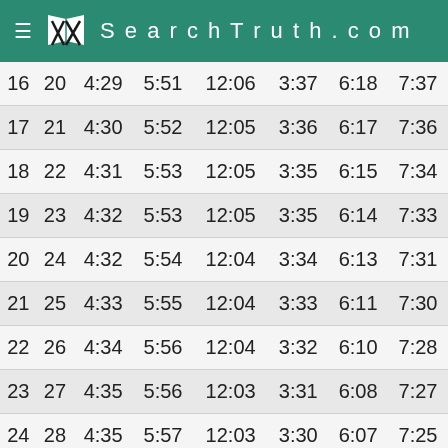SearchTruth.com
| 16 | 20 | 4:29 | 5:51 | 12:06 | 3:37 | 6:18 | 7:37 |
| 17 | 21 | 4:30 | 5:52 | 12:05 | 3:36 | 6:17 | 7:36 |
| 18 | 22 | 4:31 | 5:53 | 12:05 | 3:35 | 6:15 | 7:34 |
| 19 | 23 | 4:32 | 5:53 | 12:05 | 3:35 | 6:14 | 7:33 |
| 20 | 24 | 4:32 | 5:54 | 12:04 | 3:34 | 6:13 | 7:31 |
| 21 | 25 | 4:33 | 5:55 | 12:04 | 3:33 | 6:11 | 7:30 |
| 22 | 26 | 4:34 | 5:56 | 12:04 | 3:32 | 6:10 | 7:28 |
| 23 | 27 | 4:35 | 5:56 | 12:03 | 3:31 | 6:08 | 7:27 |
| 24 | 28 | 4:35 | 5:57 | 12:03 | 3:30 | 6:07 | 7:25 |
| 25 | 29 | 4:36 | 5:58 | 12:03 | 3:29 | 6:06 | 7:24 |
| 26 | 30 | 4:37 | 5:58 | 12:02 | 3:28 | 6:04 | 7:23 |